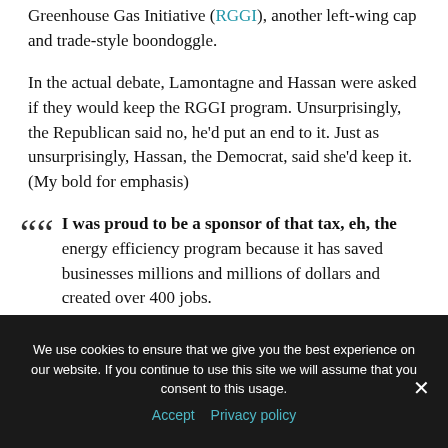Greenhouse Gas Initiative (RGGI), another left-wing cap and trade-style boondoggle.
In the actual debate, Lamontagne and Hassan were asked if they would keep the RGGI program. Unsurprisingly, the Republican said no, he'd put an end to it. Just as unsurprisingly, Hassan, the Democrat, said she'd keep it. (My bold for emphasis)
"I was proud to be a sponsor of that tax, eh, the energy efficiency program because it has saved businesses millions and millions of dollars and created over 400 jobs.
We use cookies to ensure that we give you the best experience on our website. If you continue to use this site we will assume that you consent to this usage.
Accept  Privacy policy